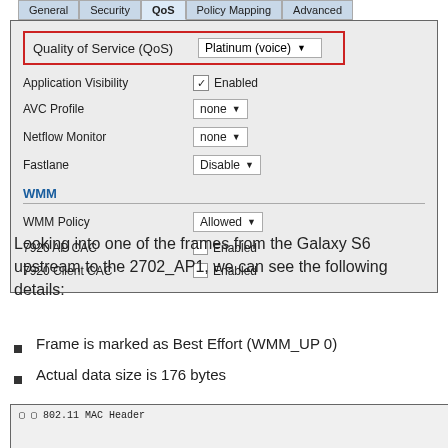[Figure (screenshot): Network configuration UI panel showing QoS tab with fields: Quality of Service (QoS) set to Platinum (voice) in a red-bordered box, Application Visibility with checked Enabled, AVC Profile set to none, Netflow Monitor set to none, Fastlane set to Disable. WMM section with WMM Policy set to Allowed, 7920 AP CAC Enabled (unchecked), 7920 Client CAC Enabled (unchecked). Tabs at top: General, Security, QoS (active), Policy Mapping, Advanced.]
Looking into one of the frames from the Galaxy S6 upstream to the 2702_AP1, we can see the following details:
Frame is marked as Best Effort (WMM_UP 0)
Actual data size is 176 bytes
[Figure (screenshot): Partial screenshot showing bottom of a packet capture tool with '802.11 MAC Header' label visible.]